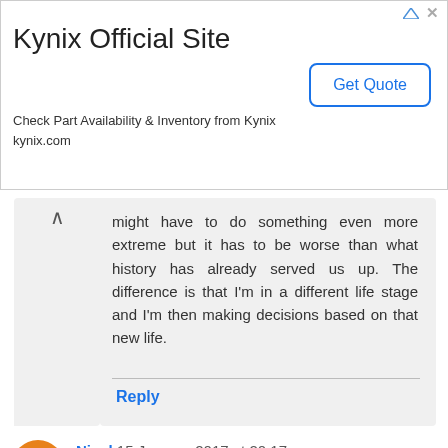[Figure (screenshot): Kynix Official Site advertisement banner with Get Quote button]
might have to do something even more extreme but it has to be worse than what history has already served us up. The difference is that I'm in a different life stage and I'm then making decisions based on that new life.
Reply
Nigel 15 January 2017 at 20:17
Congratulations to our RIT author. To our other readers, if you're financially independent then one sign of being mentally/emotionally ready is that you're bored with work. One thing though: work is a big part of our lives. What will you replace it with? Retirement is NOT one long holiday, you might like to think of charity work, your children or